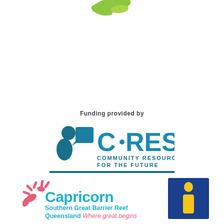[Figure (logo): Partial green leaf/wave logo at top center]
Funding provided by
[Figure (logo): C·RES Community Resourcing for the Future logo - teal/blue with stylized figure icon]
[Figure (logo): Capricorn Southern Great Barrier Reef Queensland Where great begins logo in pink/teal]
[Figure (logo): Blue square with yellow italic i - tourist information logo]